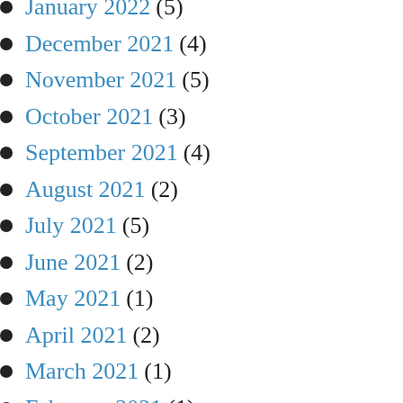January 2022 (5)
December 2021 (4)
November 2021 (5)
October 2021 (3)
September 2021 (4)
August 2021 (2)
July 2021 (5)
June 2021 (2)
May 2021 (1)
April 2021 (2)
March 2021 (1)
February 2021 (1)
December 2020 (2)
November 2020 (3)
October 2020 (5)
August 2020 (3)